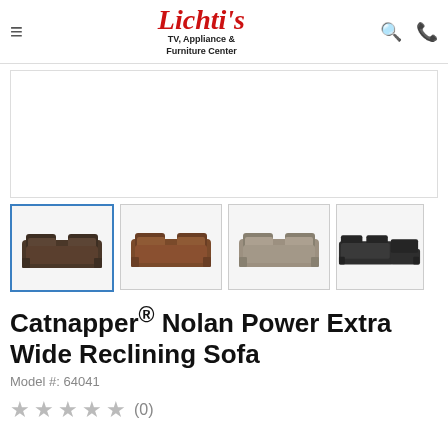[Figure (logo): Lichti's TV, Appliance & Furniture Center logo with red cursive Lichti's and black subtitle text]
[Figure (photo): Main large product image area - white/blank placeholder for Catnapper Nolan Power Extra Wide Reclining Sofa]
[Figure (photo): Thumbnail 1 - dark brown reclining sofa (selected, with blue border)]
[Figure (photo): Thumbnail 2 - medium brown reclining sofa]
[Figure (photo): Thumbnail 3 - taupe/beige reclining sofa]
[Figure (photo): Thumbnail 4 - dark sectional reclining sofa (partially visible)]
Catnapper® Nolan Power Extra Wide Reclining Sofa
Model #: 64041
★★★★★ (0)